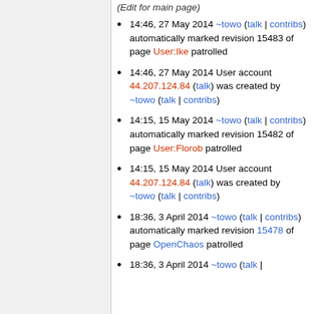(Edit for main page)
14:46, 27 May 2014 ~towo (talk | contribs) automatically marked revision 15483 of page User:Ike patrolled
14:46, 27 May 2014 User account 44.207.124.84 (talk) was created by ~towo (talk | contribs)
14:15, 15 May 2014 ~towo (talk | contribs) automatically marked revision 15482 of page User:Florob patrolled
14:15, 15 May 2014 User account 44.207.124.84 (talk) was created by ~towo (talk | contribs)
18:36, 3 April 2014 ~towo (talk | contribs) automatically marked revision 15478 of page OpenChaos patrolled
18:36, 3 April 2014 ~towo (talk |